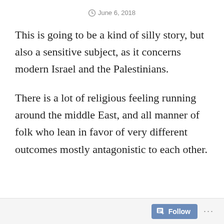June 6, 2018
This is going to be a kind of silly story, but also a sensitive subject, as it concerns modern Israel and the Palestinians.
There is a lot of religious feeling running around the middle East, and all manner of folk who lean in favor of very different outcomes mostly antagonistic to each other.
Follow ...